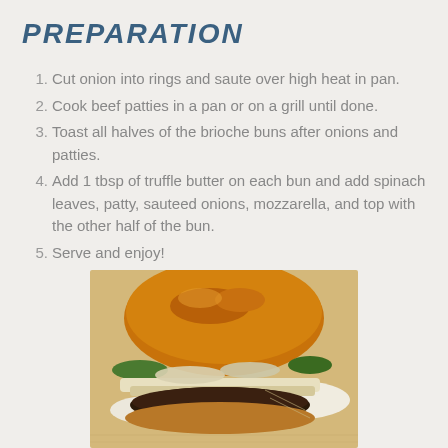PREPARATION
Cut onion into rings and saute over high heat in pan.
Cook beef patties in a pan or on a grill until done.
Toast all halves of the brioche buns after onions and patties.
Add 1 tbsp of truffle butter on each bun and add spinach leaves, patty, sauteed onions, mozzarella, and top with the other half of the bun.
Serve and enjoy!
[Figure (photo): A close-up photo of a assembled burger with a toasted brioche bun, melted mozzarella, beef patty, sauteed onions, and spinach leaves on a decorative plate.]